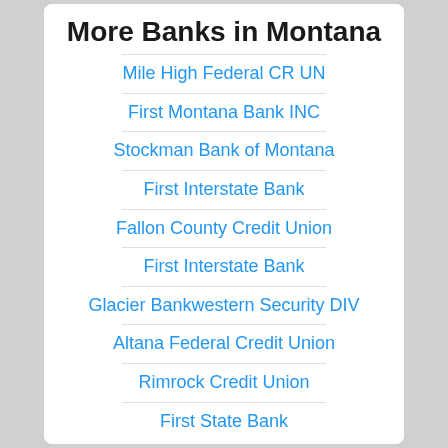More Banks in Montana
Mile High Federal CR UN
First Montana Bank INC
Stockman Bank of Montana
First Interstate Bank
Fallon County Credit Union
First Interstate Bank
Glacier Bankwestern Security DIV
Altana Federal Credit Union
Rimrock Credit Union
First State Bank